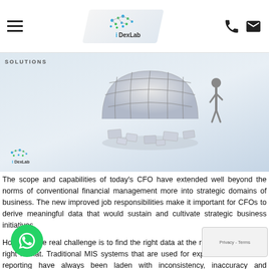DexLab navigation header with hamburger menu, DexLab logo, phone and email icons
[Figure (screenshot): Hero banner with 'Solutions' text, DexLab logo bottom-left, and a 3D globe/world image with scattered tiles and a figure on the right]
The scope and capabilities of today's CFO have extended well beyond the norms of conventional financial management more into strategic domains of business. The new improved job responsibilities make it important for CFOs to derive meaningful data that would sustain and cultivate strategic business initiatives.
However, the real challenge is to find the right data at the right time and in the right format. Traditional MIS systems that are used for expense and revenue reporting have always been laden with inconsistency, inaccuracy and unreserved intricacy.
The manner in which data is collected, kept, assembled and presented to CFOs is complex and unfit for decision-making. For CFOs and finance team management is a very challenging job which takes time and expertise. But, why?
Aggregate data is extracted from the